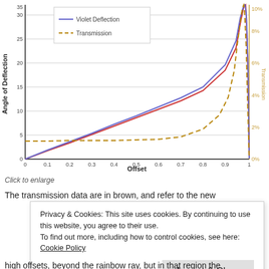[Figure (line-chart): Line chart showing Violet Deflection (blue/purple line) and Red Deflection (red line) vs Offset on left y-axis (0-35 degrees), and Transmission (brown dashed line) on right y-axis (0%-10%). X-axis goes from 0 to 1.]
Click to enlarge
The transmission data are in brown, and refer to the new
Privacy & Cookies: This site uses cookies. By continuing to use this website, you agree to their use.
To find out more, including how to control cookies, see here: Cookie Policy
Accept & Close
high offsets, beyond the rainbow ray, but in that region the